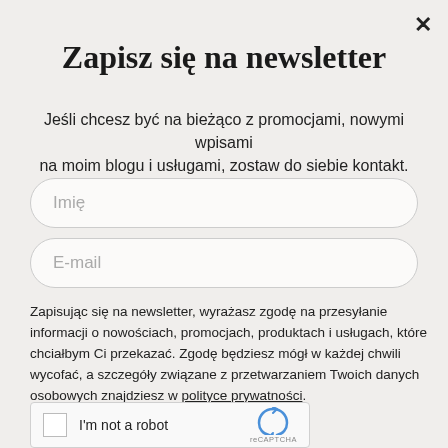Zapisz się na newsletter
Jeśli chcesz być na bieżąco z promocjami, nowymi wpisami na moim blogu i usługami, zostaw do siebie kontakt.
Imię
E-mail
Zapisując się na newsletter, wyrażasz zgodę na przesyłanie informacji o nowościach, promocjach, produktach i usługach, które chciałbym Ci przekazać. Zgodę będziesz mógł w każdej chwili wycofać, a szczegóły związane z przetwarzaniem Twoich danych osobowych znajdziesz w polityce prywatności.
[Figure (other): reCAPTCHA widget with checkbox labeled I'm not a robot]